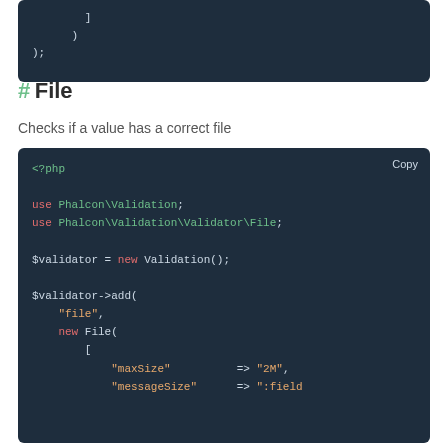[Figure (screenshot): Code block showing closing brackets: ] ) );]
# File
Checks if a value has a correct file
[Figure (screenshot): PHP code block showing use statements and $validator->add() call with File validator, maxSize and messageSize parameters]